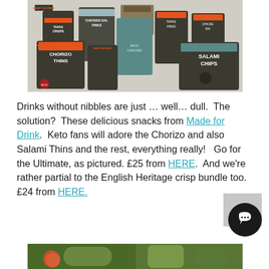[Figure (photo): Collection of Made for Drink snack packets including Tapas Fries, Chicken Salt Fries, Chorizo Thins, Salami Chips and other products arranged together]
Drinks without nibbles are just … well… dull.  The solution?  These delicious snacks from Made for Drink.  Keto fans will adore the Chorizo and also Salami Thins and the rest, everything really!   Go for the Ultimate, as pictured. £25 from HERE.  And we're rather partial to the English Heritage crisp bundle too.£24 from HERE.
[Figure (photo): Partial view of another product or food item at the bottom of the page]